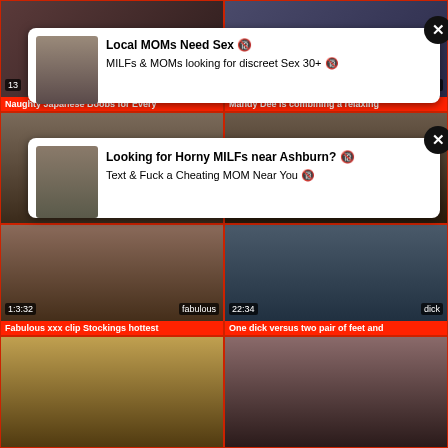[Figure (screenshot): Adult video thumbnail grid with ad overlays. Top row: two video thumbnails with a white ad popup overlay reading 'Local MOMs Need Sex' and 'MILFs & MOMs looking for discreet Sex 30+'. Middle row: two video thumbnails with a white ad popup reading 'Looking for Horny MILFs near Ashburn?' and 'Text & Fuck a Cheating MOM Near You'. Bottom thumbnails labeled 'Fabulous xxx clip Stockings hottest' (1:3:32) and 'One dick versus two pair of feet and' (22:34). Two more thumbnails at the bottom with no labels visible.]